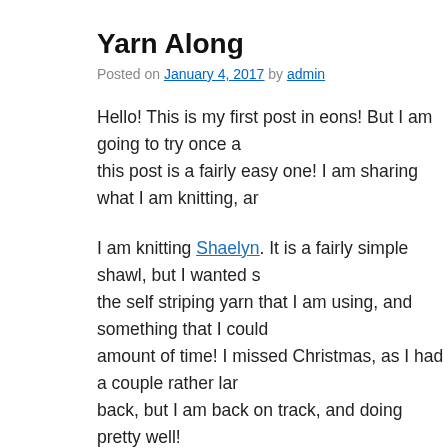Yarn Along
Posted on January 4, 2017 by admin
Hello! This is my first post in eons! But I am going to try once a this post is a fairly easy one! I am sharing what I am knitting, ar
I am knitting Shaelyn. It is a fairly simple shawl, but I wanted s the self striping yarn that I am using, and something that I could amount of time! I missed Christmas, as I had a couple rather lar back, but I am back on track, and doing pretty well!
I am reading The Borrowers. It is a book that I read many times the mood for a light and easy read!
[Figure (photo): Close-up photo of knitting work in progress showing teal and purple yarn with stitch markers attached, and what appears to be a book partially visible in the bottom right corner.]